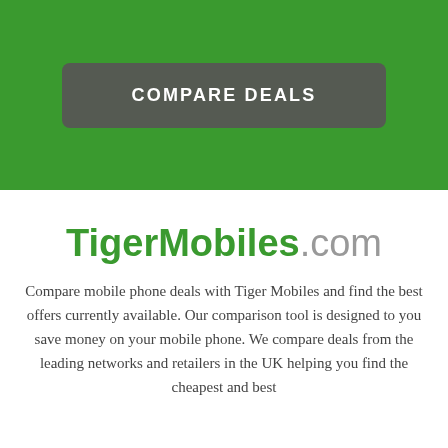[Figure (other): Green banner background with a dark grey rounded button reading 'COMPARE DEALS' in white uppercase letters]
TigerMobiles.com
Compare mobile phone deals with Tiger Mobiles and find the best offers currently available. Our comparison tool is designed to you save money on your mobile phone. We compare deals from the leading networks and retailers in the UK helping you find the cheapest and best